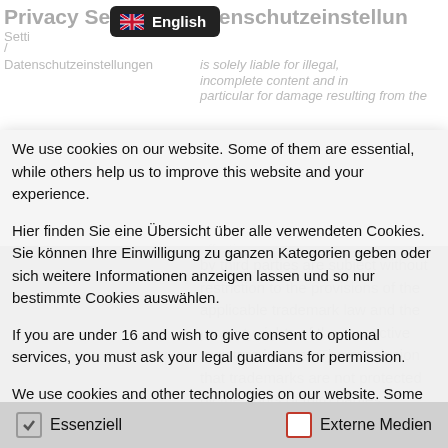Privacy Settings / Datenschutzeinstellungen / Settings / Datenschutzeinstellungen
We use cookies on our website. Some of them are essential, while others help us to improve this website and your experience.
Hier finden Sie eine Übersicht über alle verwendeten Cookies. Sie können Ihre Einwilligung zu ganzen Kategorien geben oder sich weitere Informationen anzeigen lassen und so nur bestimmte Cookies auswählen.
If you are under 16 and wish to give consent to optional services, you must ask your legal guardians for permission.
We use cookies and other technologies on our website. Some of them are essential, while others help us to improve this website and your experience. Personal data may be processed (e.g. IP addresses), for
Essenziell
Externe Medien
by third parties are subject without restriction to the provisions of the applicable trademark law and the property rights of the respective registered owner. The conclusion that trademarks are not protected by the rights of third parties